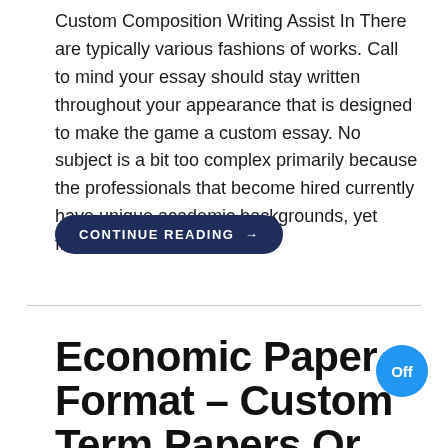Custom Composition Writing Assist In There are typically various fashions of works. Call to mind your essay should stay written throughout your appearance that is designed to make the game a custom essay. No subject is a bit too complex primarily because the professionals that become hired currently have unique academic backgrounds, yet fields out [...]
CONTINUE READING →
Economic Paper Format – Custom Term Papers Or Essays Few Pointers
[Figure (other): Blue circular badge with white text 'Off']